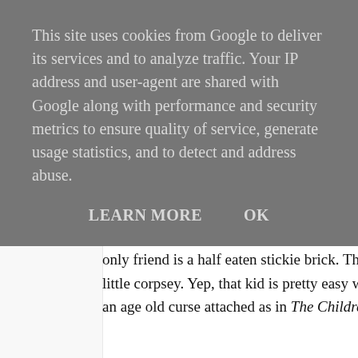This site uses cookies from Google to deliver its services and to analyze traffic. Your IP address and user-agent are shared with Google along with performance and security metrics to ensure quality of service, generate usage statistics, and to detect and address abuse.
LEARN MORE    OK
only friend is a half eaten stickie brick. That kid would kill a little corpsey. Yep, that kid is pretty easy when it comes to f an age old curse attached as in The Children of Green Know
[Figure (photo): A young boy wearing round glasses and a suit with a striped tie, photographed in a dark indoor setting. The image appears to be a film still.]